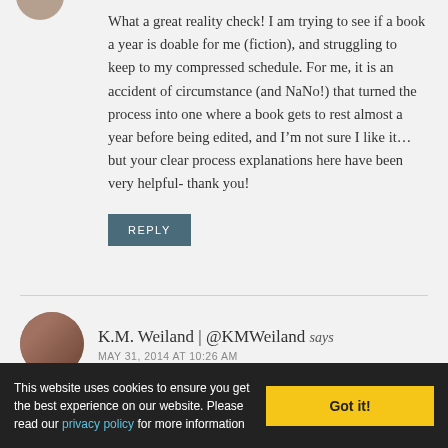[Figure (photo): Partial circular avatar image at top left, partially cropped]
What a great reality check! I am trying to see if a book a year is doable for me (fiction), and struggling to keep to my compressed schedule. For me, it is an accident of circumstance (and NaNo!) that turned the process into one where a book gets to rest almost a year before being edited, and I'm not sure I like it… but your clear process explanations here have been very helpful- thank you!
REPLY
[Figure (photo): Circular avatar photo of K.M. Weiland]
K.M. Weiland | @KMWeiland says
MAY 31, 2014 AT 10:26 AM
This website uses cookies to ensure you get the best experience on our website. Please read our privacy policy for more information